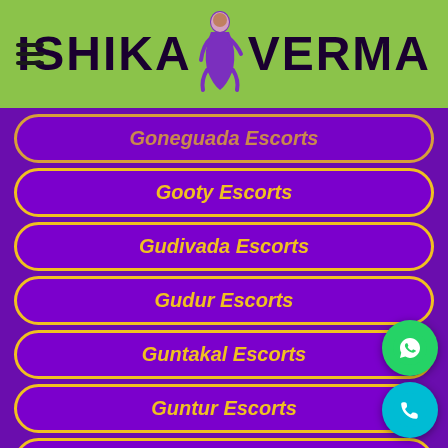ISHIKA VERMA
Goneguada Escorts
Gooty Escorts
Gudivada Escorts
Gudur Escorts
Guntakal Escorts
Guntur Escorts
Hindupuram Escorts
Hitech-city Escorts
Hyderabad Escorts
Ichchapuram Escorts
Jaggayyapet Escorts